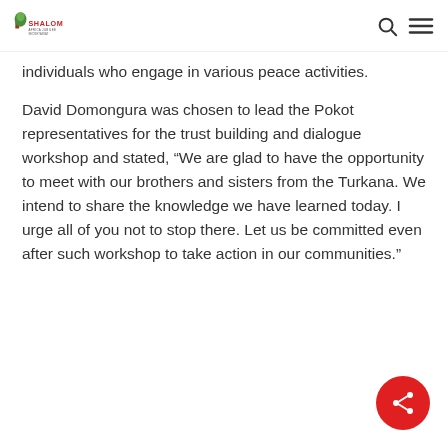Shalom Africa
individuals who engage in various peace activities.
David Domongura was chosen to lead the Pokot representatives for the trust building and dialogue workshop and stated, “We are glad to have the opportunity to meet with our brothers and sisters from the Turkana. We intend to share the knowledge we have learned today. I urge all of you not to stop there. Let us be committed even after such workshop to take action in our communities.”